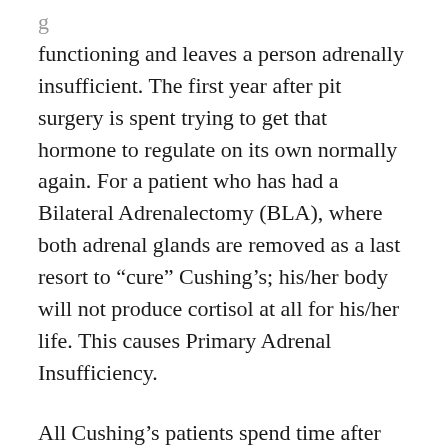functioning and leaves a person adrenally insufficient. The first year after pit surgery is spent trying to get that hormone to regulate on its own normally again. For a patient who has had a Bilateral Adrenalectomy (BLA), where both adrenal glands are removed as a last resort to “cure” Cushing’s; his/her body will not produce cortisol at all for his/her life. This causes Primary Adrenal Insufficiency.
All Cushing’s patients spend time after surgery adjusting medications and weaning slowly from steroid (cortisol) to get the body to a maintenance dose,